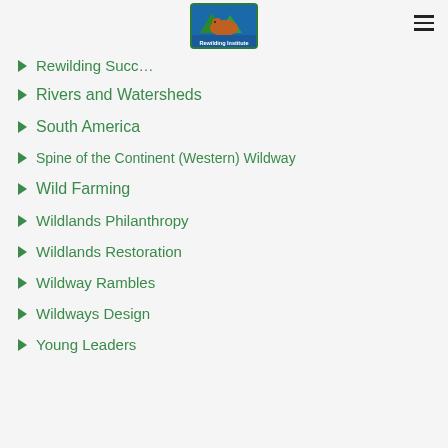[Figure (logo): Rewilding Institute logo — colorful emblem with mountains and animal, green border, text 'Rewilding Institute']
Rewilding Succ… (partially visible)
Rivers and Watersheds
South America
Spine of the Continent (Western) Wildway
Wild Farming
Wildlands Philanthropy
Wildlands Restoration
Wildway Rambles
Wildways Design
Young Leaders